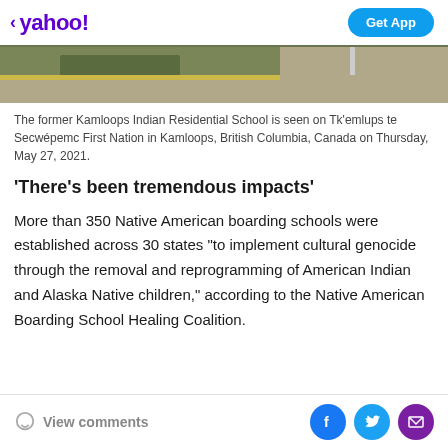yahoo! | Get App
[Figure (photo): Partial view of the former Kamloops Indian Residential School building and grounds, showing a yellow curb and greenery.]
The former Kamloops Indian Residential School is seen on Tk'emlups te Secwépemc First Nation in Kamloops, British Columbia, Canada on Thursday, May 27, 2021.
'There's been tremendous impacts'
More than 350 Native American boarding schools were established across 30 states "to implement cultural genocide through the removal and reprogramming of American Indian and Alaska Native children," according to the Native American Boarding School Healing Coalition.
View comments | Facebook | Twitter | Mail